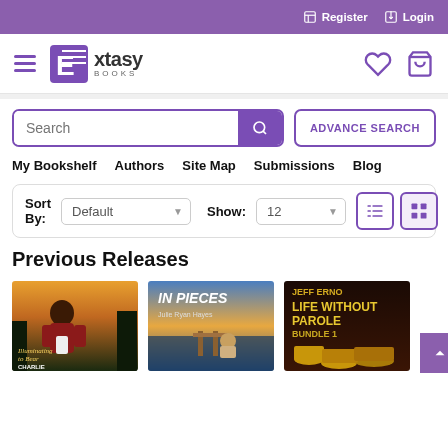Register  Login
[Figure (logo): Extasy Books logo with hamburger menu icon on the left and heart/bag icons on the right]
[Figure (screenshot): Search bar with magnifying glass button and ADVANCE SEARCH button]
My Bookshelf  Authors  Site Map  Submissions  Blog
Sort By: Default   Show: 12
Previous Releases
[Figure (photo): Book cover: Illuminating to Bear by Charlie Richards — man in red flannel shirt]
[Figure (photo): Book cover: In Pieces by Julie Ryan Hayes — woman on a dock at sunset]
[Figure (photo): Book cover: Life Without Parole Bundle 1 by Jeff Erno]